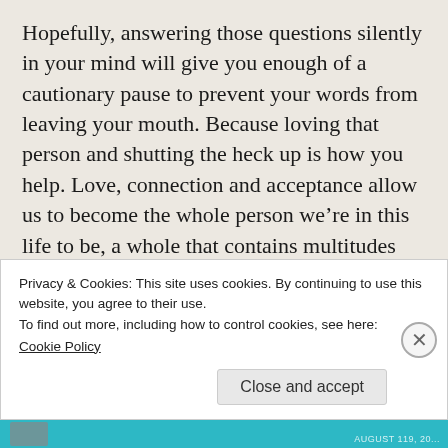Hopefully, answering those questions silently in your mind will give you enough of a cautionary pause to prevent your words from leaving your mouth. Because loving that person and shutting the heck up is how you help. Love, connection and acceptance allow us to become the whole person we’re in this life to be, a whole that contains multitudes more than the “skin sack” holding it all. Yet again, an old adage wins the day: if you can’t say something nice, keep your mouth closed and consider...
Privacy & Cookies: This site uses cookies. By continuing to use this website, you agree to their use.
To find out more, including how to control cookies, see here:
Cookie Policy
Close and accept